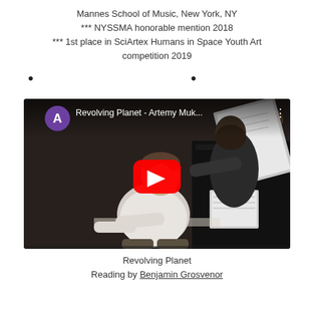Mannes School of Music, New York, NY
*** NYSSMA honorable mention 2018
*** 1st place in SciArtex Humans in Space Youth Art competition 2019
• • •
[Figure (screenshot): YouTube video embed showing a pianist at a grand piano with another person standing beside them. The video title reads 'Revolving Planet - Artemy Muk...' with a purple avatar circle showing the letter A. A red YouTube play button is visible in the center.]
Revolving Planet
Reading by Benjamin Grosvenor